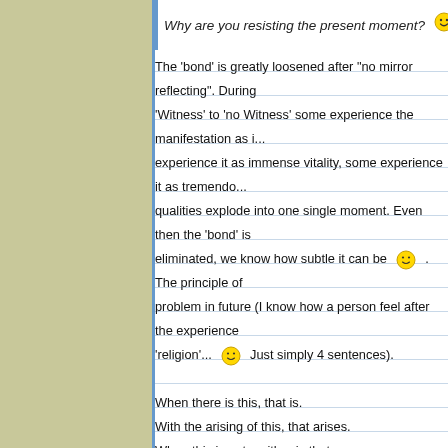Originally posted by John:
Why are you resisting the present moment?
The 'bond' is greatly loosened after "no mirror reflecting". During 'Witness' to 'no Witness' some experience the manifestation as i... experience it as immense vitality, some experience it as tremendo... qualities explode into one single moment. Even then the 'bond' is
eliminated, we know how subtle it can be . The principle of problem in future (I know how a person feel after the experience
'religion'... Just simply 4 sentences).
When there is this, that is.
With the arising of this, that arises.
When this is not, neither is that.
With the cessation of this, that ceases.
Not for scientists, more crucial for the experience of the totality o...
Thusness: The 'who' is gone, the 'where' and 'when' isn't.
Find delights in -- this is, that is.